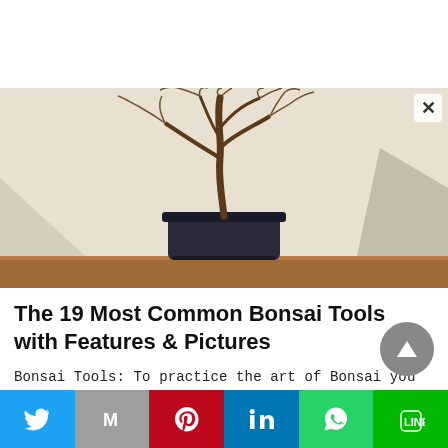[Figure (photo): A small bonsai tree with bare, twisted branches in a dark rectangular pot, placed on a wooden surface with a light/shadow background]
The 19 Most Common Bonsai Tools with Features & Pictures
Bonsai Tools: To practice the art of Bonsai you must have the proper tools. I...
[Figure (other): Social share bar with Twitter, Gmail (M), Pinterest, LinkedIn, WhatsApp, and LINE buttons]